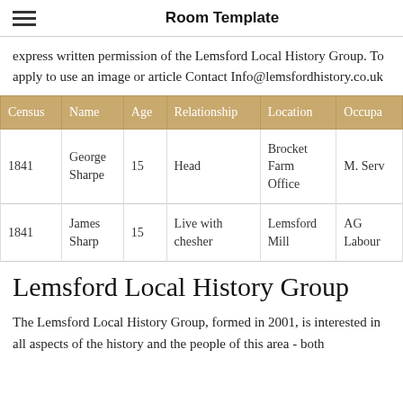Room Template
express written permission of the Lemsford Local History Group. To apply to use an image or article Contact Info@lemsfordhistory.co.uk
| Census | Name | Age | Relationship | Location | Occupa… |
| --- | --- | --- | --- | --- | --- |
| 1841 | George Sharpe | 15 | Head | Brocket Farm Office | M. Serv… |
| 1841 | James Sharp | 15 | Live with chesher | Lemsford Mill | AG Labour… |
Lemsford Local History Group
The Lemsford Local History Group, formed in 2001, is interested in all aspects of the history and the people of this area - both